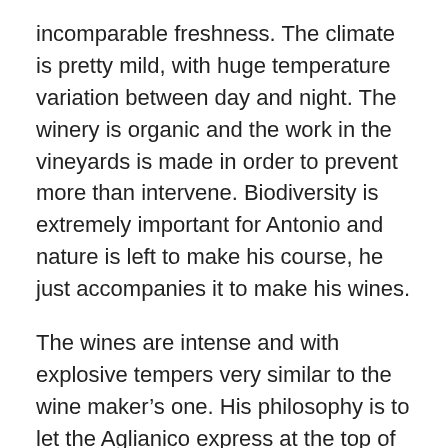incomparable freshness. The climate is pretty mild, with huge temperature variation between day and night. The winery is organic and the work in the vineyards is made in order to prevent more than intervene. Biodiversity is extremely important for Antonio and nature is left to make his course, he just accompanies it to make his wines.
The wines are intense and with explosive tempers very similar to the wine maker’s one. His philosophy is to let the Aglianico express at the top of its quality, by coming back to a very natural approach in the fields and a less intervention in the cellar.
Antelio wine is 100% made with Aglianico grapes from 30 year old vines growing in...